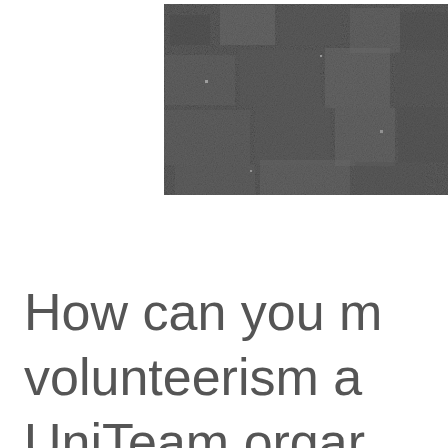[Figure (photo): A grayscale photograph of a rough, dark textured surface (appears to be asphalt or gravel), cropped at the top of the page with a white border on the left side.]
How can you make volunteerism a UniTeam organ